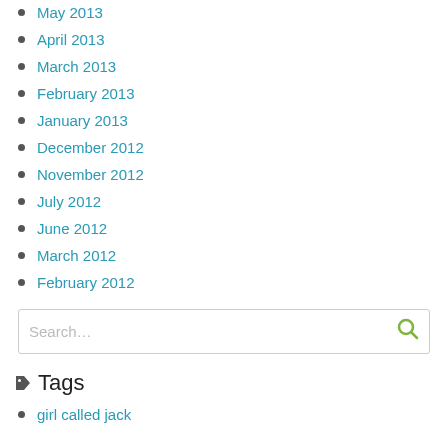May 2013
April 2013
March 2013
February 2013
January 2013
December 2012
November 2012
July 2012
June 2012
March 2012
February 2012
Tags
girl called jack